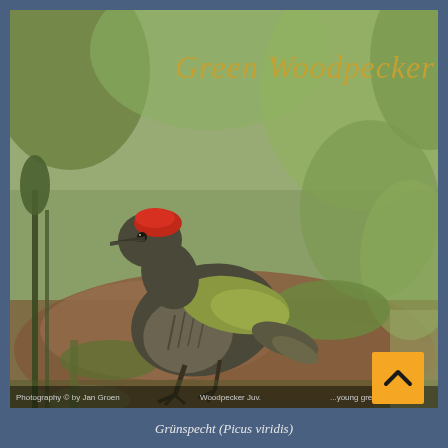[Figure (photo): A Green Woodpecker (juvenile) photographed on the ground amidst green vegetation and brown earth. The bird has a red crown, dark grey-brown streaked plumage, and a greenish-yellow rump visible. Text 'Green Woodpecker' appears in italic gold script at the top right of the photo.]
Grünspecht (Picus viridis)